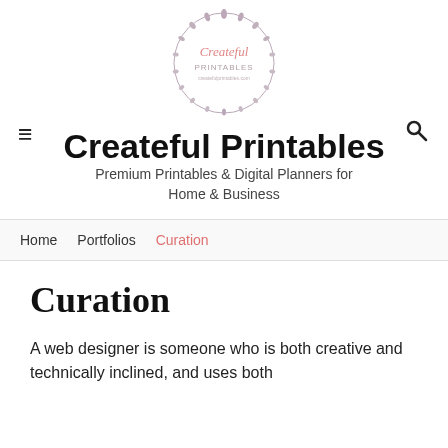[Figure (logo): Createful Printables circular logo with wreath border, pink script text 'Createful' and 'PRINTABLES' in caps below, with website URL]
Createful Printables
Premium Printables & Digital Planners for Home & Business
Home   Portfolios   Curation
Curation
A web designer is someone who is both creative and technically inclined, and uses both